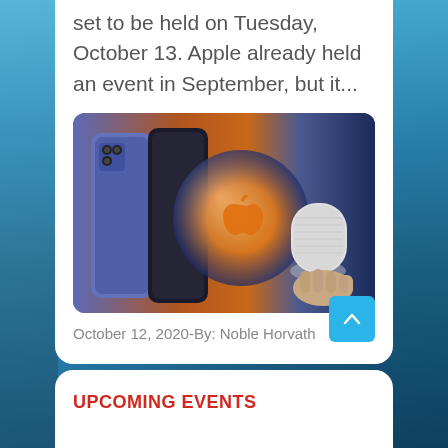set to be held on Tuesday, October 13. Apple already held an event in September, but it...
[Figure (photo): Photo showing blue iPhone 12 Pro models alongside an Apple event logo orb and a HomePod mini held in a hand, against an orange-to-dark-blue gradient background.]
October 12, 2020-By: Noble Horvath
UPCOMING EVENTS